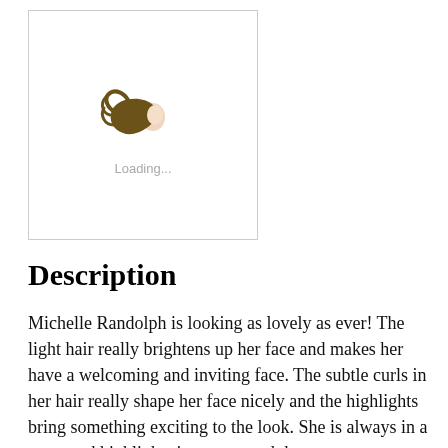[Figure (illustration): A loading placeholder image showing a simplified illustration of a person's head with brown flowing hair, facing right, with 'Loading...' text below it. The image is inside a white box with a light gray border.]
Description
Michelle Randolph is looking as lovely as ever! The light hair really brightens up her face and makes her have a welcoming and inviting face. The subtle curls in her hair really shape her face nicely and the highlights bring something exciting to the look. She is always in a hurry highlights in a more and done